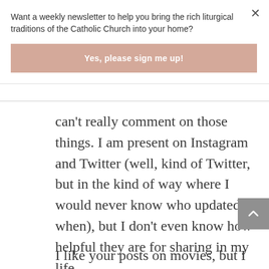Want a weekly newsletter to help you bring the rich liturgical traditions of the Catholic Church into your home?
[Figure (other): Pink/mauve colored button with white bold text: Yes, please sign me up!]
can't really comment on those things. I am present on Instagram and Twitter (well, kind of Twitter, but in the kind of way where I would never know who updated when), but I don't even know how helpful they are for sharing in my life.
I like your posts on movies, but I